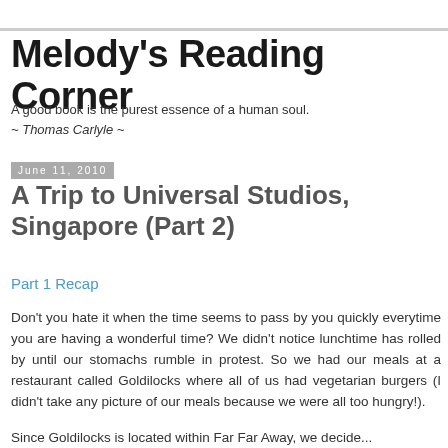Melody's Reading Corner
A good book is the purest essence of a human soul.
~ Thomas Carlyle ~
June 11, 2010
A Trip to Universal Studios, Singapore (Part 2)
Part 1 Recap
Don't you hate it when the time seems to pass by you quickly everytime you are having a wonderful time? We didn't notice lunchtime has rolled by until our stomachs rumble in protest. So we had our meals at a restaurant called Goldilocks where all of us had vegetarian burgers (I didn't take any picture of our meals because we were all too hungry!).
Since Goldilocks is located within Far Far Away, we decide...